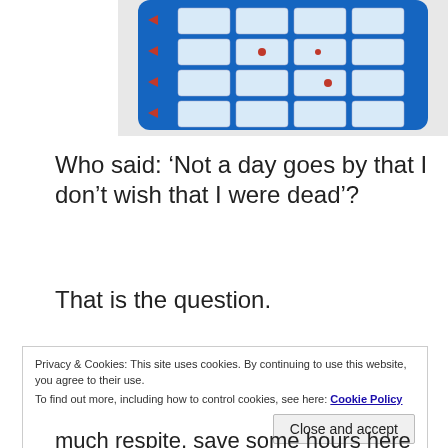[Figure (photo): A blue weekly pill organizer/medication dispenser with multiple compartments containing pills, partially visible at top of page]
Who said: ‘Not a day goes by that I don’t wish that I were dead’?
That is the question.
Privacy & Cookies: This site uses cookies. By continuing to use this website, you agree to their use. To find out more, including how to control cookies, see here: Cookie Policy
much respite, save some hours here and